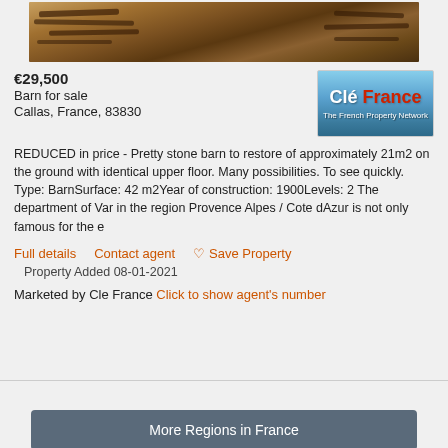[Figure (photo): Interior photo of a stone barn showing exposed wooden beams and rafters in a dilapidated condition]
€29,500
Barn for sale
Callas, France, 83830
[Figure (logo): Clé France - The French Property Network logo with blue sky background]
REDUCED in price - Pretty stone barn to restore of approximately 21m2 on the ground with identical upper floor. Many possibilities. To see quickly. Type: BarnSurface: 42 m2Year of construction: 1900Levels: 2 The department of Var in the region Provence Alpes / Cote dAzur is not only famous for the e
Full details   Contact agent   ♡ Save Property
Property Added 08-01-2021
Marketed by Cle France Click to show agent's number
More Regions in France